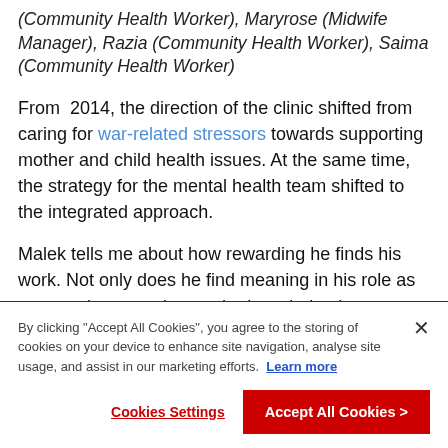(Community Health Worker), Maryrose (Midwife Manager), Razia (Community Health Worker), Saima (Community Health Worker)
From 2014, the direction of the clinic shifted from caring for war-related stressors towards supporting mother and child health issues. At the same time, the strategy for the mental health team shifted to the integrated approach.
Malek tells me about how rewarding he finds his work. Not only does he find meaning in his role as a supervisor, passing on the knowledge he once
By clicking "Accept All Cookies", you agree to the storing of cookies on your device to enhance site navigation, analyse site usage, and assist in our marketing efforts. Learn more
Cookies Settings
Accept All Cookies >